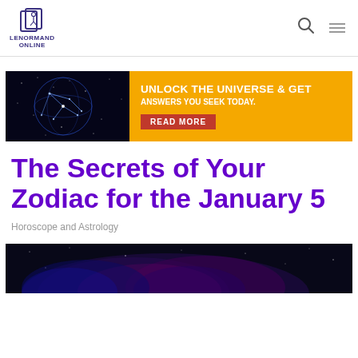LENORMAND ONLINE
[Figure (infographic): Advertisement banner: left side shows a dark cosmic/constellation sphere image on black background; right side is orange with text 'UNLOCK THE UNIVERSE & GET ANSWERS YOU SEEK TODAY.' and a red 'READ MORE' button.]
The Secrets of Your Zodiac for the January 5
Horoscope and Astrology
[Figure (photo): Partial image of a dark galaxy/nebula space scene with purple and blue hues at the bottom of the page.]